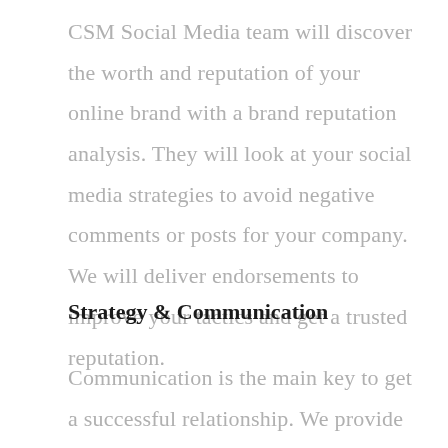CSM Social Media team will discover the worth and reputation of your online brand with a brand reputation analysis. They will look at your social media strategies to avoid negative comments or posts for your company. We will deliver endorsements to improve your tactics and get a trusted reputation.
Strategy & Communication
Communication is the main key to get a successful relationship. We provide the best